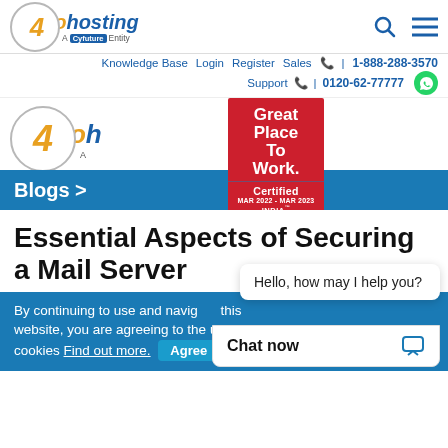[Figure (logo): go4hosting logo - circle with 4, text 'go4hosting', subtitle 'A Cyfuture Entity']
Knowledge Base  Login  Register  Sales  | 1-888-288-3570
Support  | 0120-62-77777
[Figure (logo): Great Place To Work Certified MAR 2022 - MAR 2023 INDIA badge]
Blogs >
Essential Aspects of Securing a Mail Server
By continuing to use and navigate this website, you are agreeing to the use of cookies Find out more.
Hello, how may I help you?
Chat now